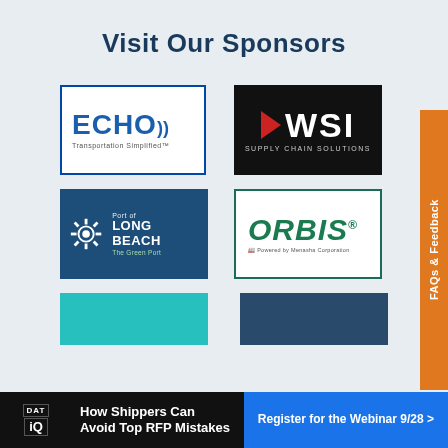Visit Our Sponsors
[Figure (logo): ECHO Transportation Simplified logo - blue border white background]
[Figure (logo): WSI Supply Chain Solutions logo - black background white text red arrow]
[Figure (logo): Port of Long Beach The Green Port logo - dark blue background]
[Figure (logo): ORBIS Powered by Menasha Corporation logo - green border white background]
[Figure (logo): Partial teal logo at bottom left]
[Figure (logo): Partial navy logo at bottom right]
FAQs & Feedback
How Shippers Can Avoid Top RFP Mistakes
Register for the Webinar 9/28 >